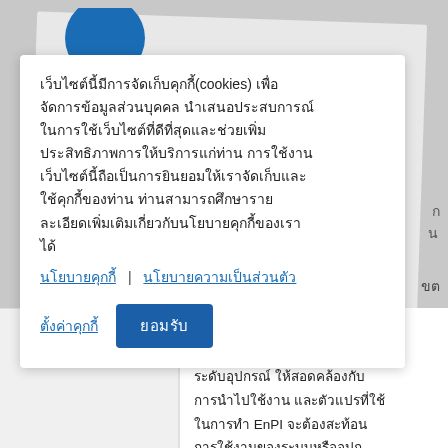[Figure (logo): Partial blue circular logo visible at top left]
เว็บไซต์นี้มีการจัดเก็บคุกกี้(cookies) เพื่อจัดการข้อมูลส่วนบุคคล นำเสนอประสบการณ์ในการใช้เว็บไซต์ที่ดีที่สุดและช่วยเพิ่มประสิทธิภาพการให้บริการแก่ท่าน การใช้งานเว็บไซต์นี้ถือเป็นการยินยอมให้เราจัดเก็บและใช้คุกกี้ของท่าน ท่านสามารถศึกษารายละเอียดเพิ่มเติมเกี่ยวกับนโยบายคุกกี้ของเราได้
นโยบายคุกกี้  |  นโยบายความเป็นส่วนตัว
ตั้งค่าคุกกี้   ยอมรับ
ขต ของ EnPI ว่าอยู่ในระดับไหน ระดับองค์ ระดับแผนก หรือแค่ระดับอุปกรณ์ ให้สอดคล้องกับการนำไปใช้งาน และตัวแปรที่ใช้ในการทำ EnPI จะต้องสะท้อนการใช้งานของระบบหรืออุปก